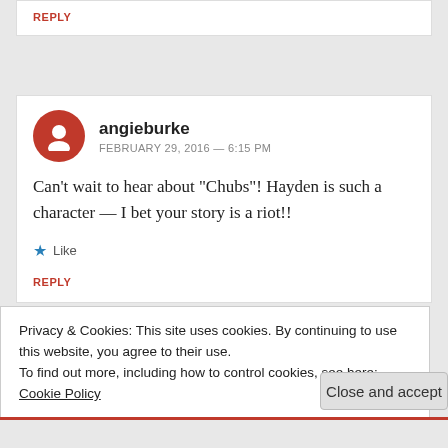REPLY
[Figure (illustration): Red circular avatar icon with white person silhouette]
angieburke
FEBRUARY 29, 2016 — 6:15 PM
Can’t wait to hear about “Chubs”! Hayden is such a character — I bet your story is a riot!!
Like
REPLY
Privacy & Cookies: This site uses cookies. By continuing to use this website, you agree to their use.
To find out more, including how to control cookies, see here: Cookie Policy
Close and accept